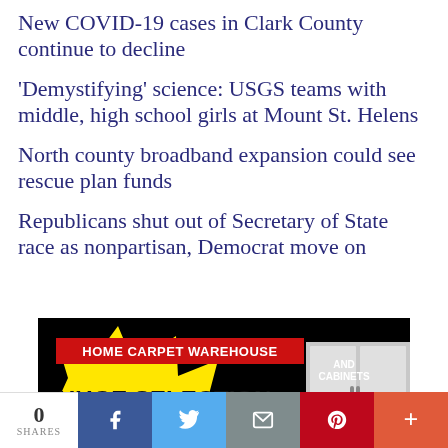New COVID-19 cases in Clark County continue to decline
'Demystifying' science: USGS teams with middle, high school girls at Mount St. Helens
North county broadband expansion could see rescue plan funds
Republicans shut out of Secretary of State race as nonpartisan, Democrat move on
[Figure (illustration): Home Carpet Warehouse and Cabinets advertisement showing yellow starburst background with bold text: HUGE SELECTION, FREE UPGRADES, FREE DESIGN SERVICES. Red banner at top reads HOME CARPET WAREHOUSE AND CABINETS. Gold medal badge reads FOR OVER A DECADE!]
0 SHARES | Facebook | Twitter | Email | Pinterest | More